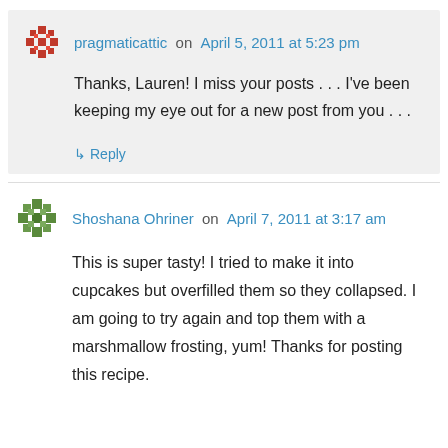pragmaticattic on April 5, 2011 at 5:23 pm
Thanks, Lauren! I miss your posts . . . I've been keeping my eye out for a new post from you . . .
↳ Reply
Shoshana Ohriner on April 7, 2011 at 3:17 am
This is super tasty! I tried to make it into cupcakes but overfilled them so they collapsed. I am going to try again and top them with a marshmallow frosting, yum! Thanks for posting this recipe.